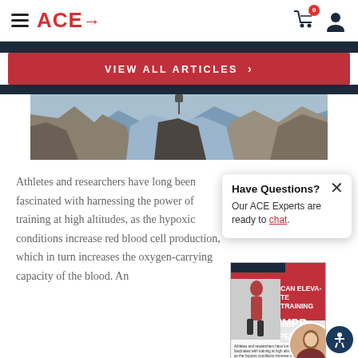ACE→ navigation bar with hamburger menu, cart (0), and user icon
VIEW ALL ARTICLES >
[Figure (photo): Hero image of rocky mountain cliffs with a climber, scenic mountain range in background]
Athletes and researchers have long been fascinated with harnessing the power of training at high altitudes, as the hypoxic conditions increase red blood cell production, which in turn increases the oxygen-carrying capacity of the blood. An
[Figure (other): Popup card: Have Questions? Our ACE Experts are ready to chat.]
[Figure (photo): Magazine thumbnail showing article CAN ELEVATE TRAINING IMPR PERFORM with athlete running image]